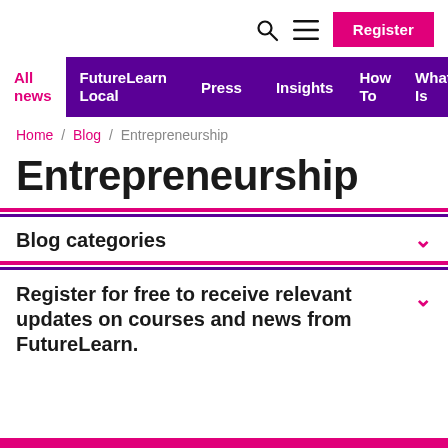Register
All news / FutureLearn Local / Press / Insights / How To / What Is
Home / Blog / Entrepreneurship
Entrepreneurship
Blog categories
Register for free to receive relevant updates on courses and news from FutureLearn.